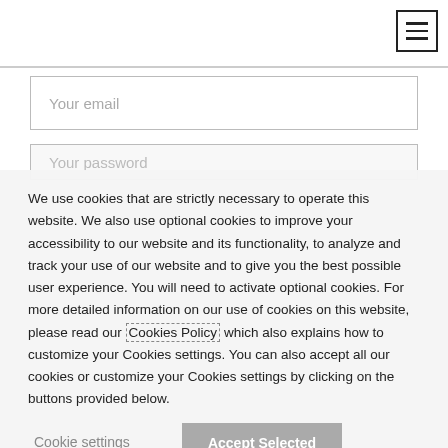[Figure (screenshot): Hamburger menu icon (three horizontal lines) in a square border, top-right corner of the page]
Your email
Your password (placeholder, partially visible)
We use cookies that are strictly necessary to operate this website. We also use optional cookies to improve your accessibility to our website and its functionality, to analyze and track your use of our website and to give you the best possible user experience. You will need to activate optional cookies. For more detailed information on our use of cookies on this website, please read our Cookies Policy which also explains how to customize your Cookies settings. You can also accept all our cookies or customize your Cookies settings by clicking on the buttons provided below.
Cookie settings
Accept Selected
ACCEPT ALL